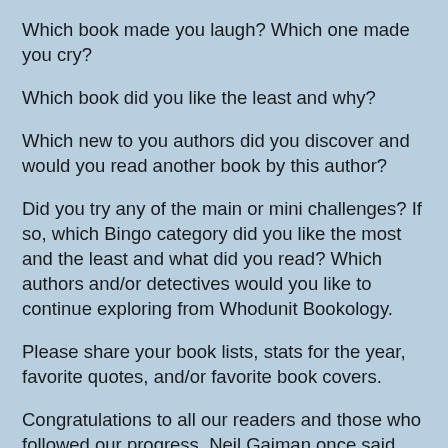Which book made you laugh? Which one made you cry?
Which book did you like the least and why?
Which new to you authors did you discover and would you read another book by this author?
Did you try any of the main or mini challenges? If so, which Bingo category did you like the most and the least and what did you read? Which authors and/or detectives would you like to continue exploring from Whodunit Bookology.
Please share your book lists, stats for the year, favorite quotes, and/or favorite book covers.
Congratulations to all our readers and those who followed our progress. Neil Gaiman once said "Read. Read anything. Read the things they say are good for you, and the things they claim are junk. You’ll find what you need to find. Just read." Whether you read fast or slow, listen to audio books; read fluffy, light romances or heavy classics, comedy to drama, urban fantasies to thrillers, or nonfiction to comics